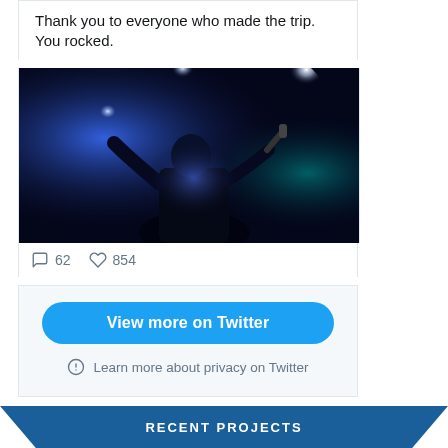Thank you to everyone who made the trip. You rocked.
[Figure (photo): Concert photo showing a musician silhouetted against bright blue stage lighting with spotlights]
62  854
View more on Twitter
Learn more about privacy on Twitter
RECENT PROJECTS